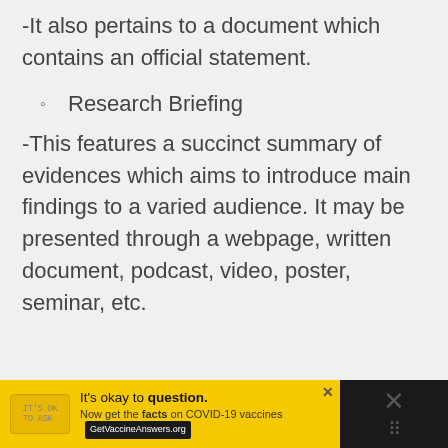-It also pertains to a document which contains an official statement.
Research Briefing
-This features a succinct summary of evidences which aims to introduce main findings to a varied audience. It may be presented through a webpage, written document, podcast, video, poster, seminar, etc.
It's okay to question. Now get the facts on COVID-19 vaccines GetVaccineAnswers.org